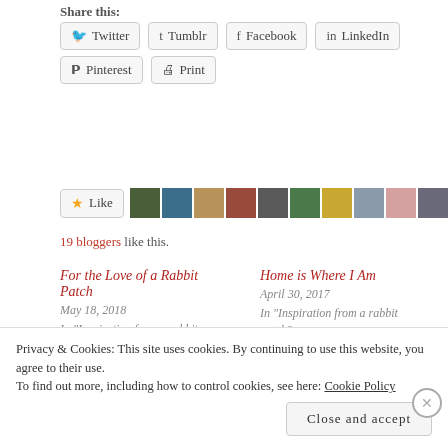Share this:
Twitter
Tumblr
Facebook
LinkedIn
Pinterest
Print
[Figure (other): Like button with star icon followed by a strip of 10 blogger avatar thumbnails]
19 bloggers like this.
For the Love of a Rabbit Patch
May 18, 2018
In "Inspiration from a rabbit patch"
Home is Where I Am
April 30, 2017
In "Inspiration from a rabbit patch"
I am Glad for Summer
Privacy & Cookies: This site uses cookies. By continuing to use this website, you agree to their use. To find out more, including how to control cookies, see here: Cookie Policy
Close and accept